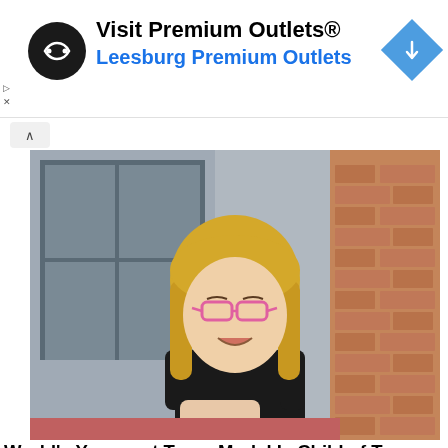[Figure (other): Advertisement banner for Premium Outlets showing logo, text 'Visit Premium Outlets® Leesburg Premium Outlets' and blue navigation diamond icon]
[Figure (photo): Young blonde girl with pink glasses wearing a black top, smiling, seated near a window with brick wall background]
World's Youngest Trans Model Is Child of Two Trans Parents Who Plan His Gender Surgery at Age 16
[Figure (photo): Older person with grey/white hair and glasses, photographed against a dark background, partially visible at bottom of page]